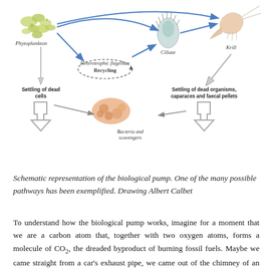[Figure (schematic): Schematic diagram of the biological pump showing organisms and pathways: Phytoplankton, Heterotrophic flagellate with Recycling loop, Ciliate, Krill, Bacteria and scavengers, with arrows showing flow of matter including 'Settling of dead cells' and 'Settling of dead organisms, caparaces and faecal pellets'.]
Schematic representation of the biological pump. One of the many possible pathways has been exemplified. Drawing Albert Calbet
To understand how the biological pump works, imagine for a moment that we are a carbon atom that, together with two oxygen atoms, forms a molecule of CO2, the dreaded byproduct of burning fossil fuels. Maybe we came straight from a car's exhaust pipe, we came out of the chimney of an industry, or just out of the lungs of our neighbor, no matter what. We, in the form of carbon,